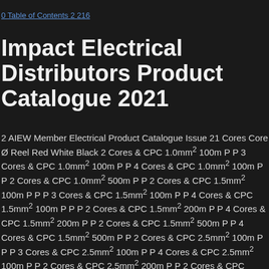0 Table of Contents 2 216
Impact Electrical Distributors Product Catalogue 2021
2 AIEW Member Electrical Product Catalogue Issue 21 Cores Core Ø Reel Red White Black 2 Cores & CPC 1.0mm² 100m P P 3 Cores & CPC 1.0mm² 100m P P 4 Cores & CPC 1.0mm² 100m P P 2 Cores & CPC 1.0mm² 500m P P 2 Cores & CPC 1.5mm² 100m P P P 3 Cores & CPC 1.5mm² 100m P P 4 Cores & CPC 1.5mm² 100m P P P 2 Cores & CPC 1.5mm² 200m P P 4 Cores & CPC 1.5mm² 200m P P 2 Cores & CPC 1.5mm² 500m P P 4 Cores & CPC 1.5mm² 500m P P 2 Cores & CPC 2.5mm² 100m P P P 3 Cores & CPC 2.5mm² 100m P P 4 Cores & CPC 2.5mm² 100m P P 2 Cores & CPC 2.5mm² 200m P P 2 Cores & CPC 2.5mm² 500m P P 2 Cores & CPC 4.0mm² 100m P P Cores Core Ø Reel 2 Cores & CPC 1.5mm² 100m 3 Cores & CPC 1.5mm² 100m 4 Cores & CPC 1.5mm² 100m 2 Cores & CPC 1.5mm² 200m 4 Cores & CPC 1.5mm² 200m 2 Cores & CPC 1.5mm² 500m 4 Cores & CPC 1.5mm² 500m 2 Cores & CPC 2.5mm² 100m 2 Cores & CPC 2.5mm² 200m 2 Cores & CPC 2.5mm² 500m Standard Fire